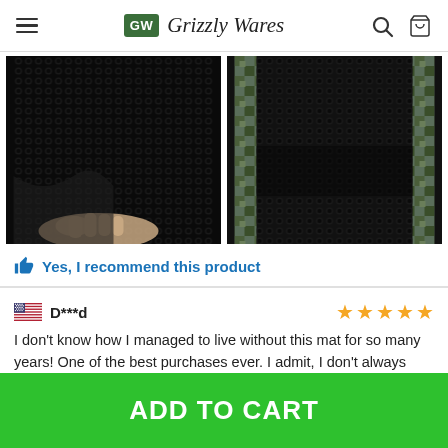Grizzly Wares
[Figure (photo): Two product photos of a black rubber/mesh mat. Left image shows a hand holding the corner of the mat revealing its textured honeycomb surface. Right image shows a top-down view of the mat with patterned edges.]
Yes, I recommend this product
D***d
I don't know how I managed to live without this mat for so many years! One of the best purchases ever. I admit, I don't always leave
ADD TO CART